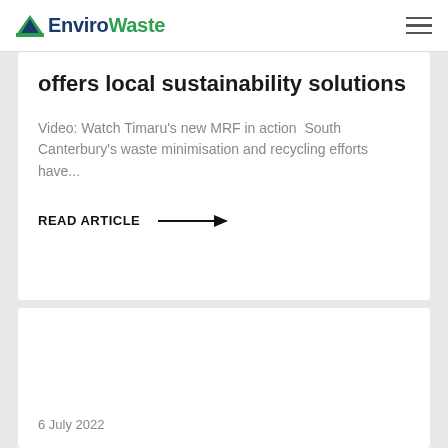EnviroWaste
offers local sustainability solutions
Video: Watch Timaru's new MRF in action  South Canterbury's waste minimisation and recycling efforts have...
READ ARTICLE →
6 July 2022